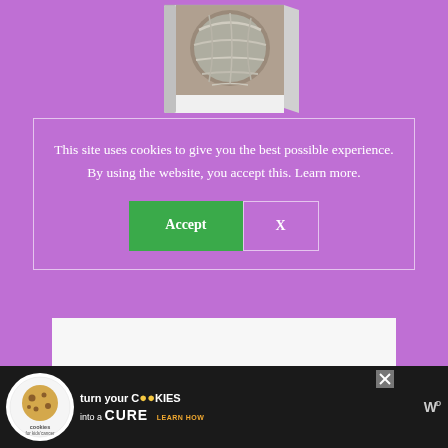[Figure (photo): A book with a yarn/knitting ball on the cover, shown at the top of the page on a purple background]
This site uses cookies to give you the best possible experience. By using the website, you accept this. Learn more.
[Figure (screenshot): Cookie consent dialog with Accept (green) and X (outline) buttons]
[Figure (screenshot): White input field and green button below the cookie dialog]
[Figure (screenshot): Ad banner at bottom: 'cookies for kids cancer - turn your COOKIES into a CURE LEARN HOW' with close button and W logo]